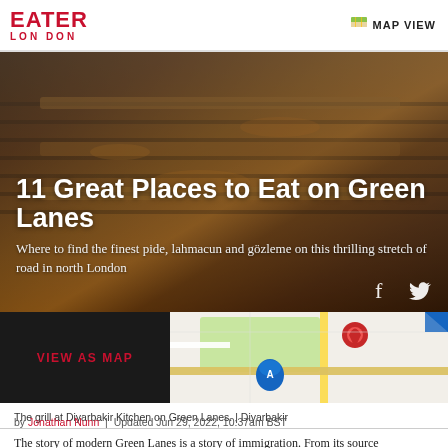EATER LONDON — MAP VIEW
[Figure (photo): Grilled meat skewers on a charcoal grill with smoke rising, hero image background for article about Green Lanes restaurants]
11 Great Places to Eat on Green Lanes
Where to find the finest pide, lahmacun and gözleme on this thrilling stretch of road in north London
[Figure (map): Google-style map thumbnail showing location markers for restaurants on Green Lanes, north London, with red pin marker and map view panel]
The grill at Diyarbakir Kitchen on Green Lanes. | Diyarbakir
by Jonathan Nunn  |  Updated Jun 29, 2022, 10:37am BST
The story of modern Green Lanes is a story of immigration. From its source